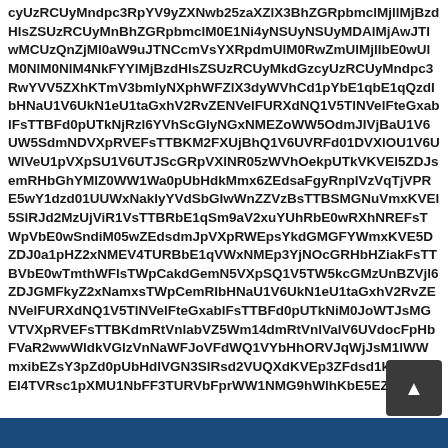cyUzRCUyMndpc3RpYV9yZXNwb25zaXZlX3BhZGRpbmclMjllMjBzdHlsZSUzRCUyMnBhZGRpbmclM0E1Ni4yNSUyNSUyMDAlMjAwJTIwMCUzQnZjMl0aW9uJTNCcmVsYXRpdmUlM0RwZmUlMjlIbE0wUlM0NlM0NlM4NkFYYlMjBzdHlsZSUzRCUyMkdGzcyUzRCUyMndpc3RwYVV5ZXhKTmV3bmIyNXphXIlX3dyWVhCd1pYbE1qbE1qQzdIbHNaU1V6UkN1eU1taGxhV2RvZENVelFURXdNQ1V5TlNVelFteGxablFsTTBFd0pUTkNjRzl6YVhScGIyNGxNMEZoWW5OdmJIVjBaU1V6UW5SdmNDVXpRVEFsTTBKM2FXUjBhQ1V6UVRFd01DVXlOU1V6UWlVeU1pVXpSU1V6UTJScGRpVXlNR05zWVhOekpUTkVKVEl5ZDJsemRHbGhYMlZ0WW1Wa0pUbHdkMmx6ZEdsaFgyRnplVzVqTjVPRE5wY1dzd01UUWxNakIyYVdSbGIwWnZZVzBsTTBSMGNuVmxKVEl5SlRJd2MzUjViR1VsTTBRbE1qSm9aV2xuYUhRbE0wRXhNREFsTWpVbE0wSndiM05wZEdsdmJpVXpRWEpsYkdGMGFYWmxKVE5DZDJ0a1pHZ2xNMEV4TURBbE1qVWxNMEp3YjNOcGRHbHZiakFsTTBVbE0wTmthWFlsTWpCakdGemN5VXpSQ1V5TW5kcGMzUnBZVjl6ZDJGMFkyZ2xNamxsTWpCemRIbHNaU1V6UkN1eU1taGxhV2RvZENVelFURXdNQ1V5TlNVelFteGxablFsTTBFd0pUTkNiM0JoWTJsMGVTVXpRVEFsTTBKdmRtVnlabVZ5Wm14dmRtVnlValV6UVdocFpHbFVaR2wwWldkVGIzVnNaWFJoVFdWQ1VYbHhORVJqWjJsM1lWWmxibEZsY3pZd0pUbHdlVGN3SlRsd2VUQXdKVEp3ZFdsd1kzSjBaWEl4TVRsc1pXMU1NbFF3TURVbFprWW1NMG9hWlhKbE5EZEVIVG5OcFpHbFVaR2wwT215a1VYQllaVkpXZm0xWlhObFZYbHdSbVJwVGt0cmRFcGhWMFFsWlRkbVlYSjBiRzlhWTIwMFpuZHFiUVRqb1lTaWNVeVJtMUlaR2xoY0hRbFpUZG1ZWFIwYkc5VklUQjFKVEZ3ZEdKcVVEZHhkSmNFeE1KVE5OVkRaclhKVE5rVmpKVE5WVVJzWVhOc2E0bGpKVEZqYlZCVkpUWXpkRTVLYkZOdFpIbFBKVGxwWlRSMUoxZHlhSFJ4WWxaV2xJZFVUVzlhWFdoWGFIUmhaVFlsWldWVFpKSk1KVE5rWW14dmFIcEpUMEp2WW01dGJ5SmNaWGxKWm14dmJXeHZkbkp2ZERGd1pYa3hOV3cyTldWbE1ERXdlVEl3TldRMU1EWXhOemxoTkc5dGRtVnliU2NqWlRCdlhUT3V3SllYTmxaRWRaWlhJeVFsSlRhbTlnTm01MlpYSk9RbEppY3pJd1lsSlRJaklMbkE9